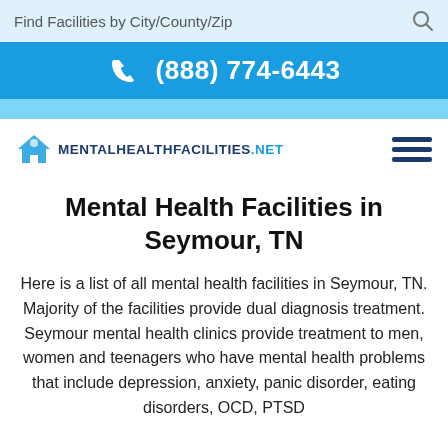Find Facilities by City/County/Zip
(888) 774-6443
[Figure (logo): MentalHealthFacilities.net logo with house icon and hamburger menu]
Mental Health Facilities in Seymour, TN
Here is a list of all mental health facilities in Seymour, TN. Majority of the facilities provide dual diagnosis treatment. Seymour mental health clinics provide treatment to men, women and teenagers who have mental health problems that include depression, anxiety, panic disorder, eating disorders, OCD, PTSD